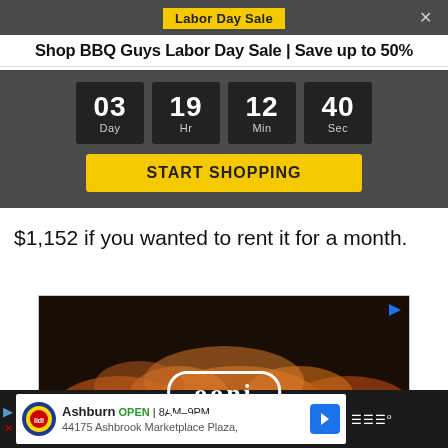Labor Day Sale
Shop BBQ Guys Labor Day Sale | Save up to 50%
FREE SHIPPING Over $49.*
[Figure (infographic): Countdown timer showing 03 Day, 19 Hr, 12 Min, 40 Sec with a yellow START SHOPPING button]
$1,152 if you wanted to rent it for a month.
[Figure (photo): Ooni logo on a dark background with flame imagery, an advertisement]
[Figure (infographic): Bottom advertisement bar showing Lidl store: Ashburn OPEN 8AM-9PM, 44175 Ashbrook Marketplace Plaza, with navigation arrow icon]